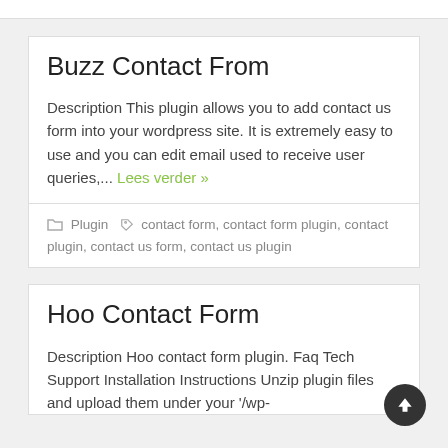Buzz Contact From
Description This plugin allows you to add contact us form into your wordpress site. It is extremely easy to use and you can edit email used to receive user queries,... Lees verder »
Plugin  contact form, contact form plugin, contact plugin, contact us form, contact us plugin
Hoo Contact Form
Description Hoo contact form plugin. Faq Tech Support Installation Instructions Unzip plugin files and upload them under your '/wp-